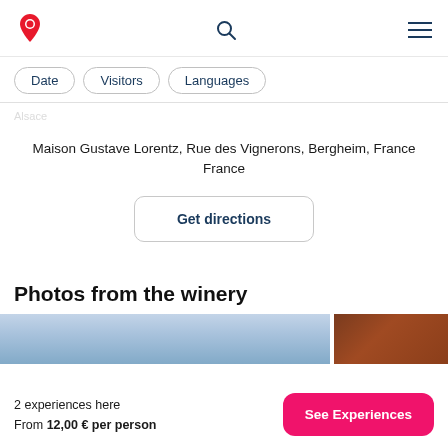[Figure (logo): Red wine glass location pin logo icon]
Date  Visitors  Languages
Maison Gustave Lorentz, Rue des Vignerons, Bergheim, France
France
Get directions
Photos from the winery
[Figure (photo): Two winery photos side by side: blue sky/exterior on left, dark brown wooden barrel/interior on right]
2 experiences here
From 12,00 € per person
See Experiences